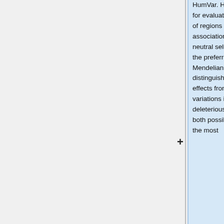HumVar. HumDiv is the preferred model for evaluation rare alleles, dense mapping of regions identified by genome-wide association studies and analysis of neutral selection. In contrast, HumVar is the preferred model for diagnostic of Mendelian diseases which require distinguishing mutations with drastic effects from all remaining human variations including abundant mildly deleterious alleles. We decided to look at both possible models, which are agrees in the most